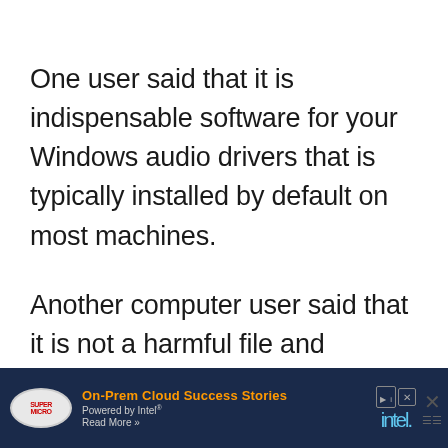One user said that it is indispensable software for your Windows audio drivers that is typically installed by default on most machines.
Another computer user said that it is not a harmful file and provides an important audio processing service if you are listening or watching media.
[Figure (other): Advertisement banner at the bottom: Supermicro logo with 'On-Prem Cloud Success Stories / Powered by Intel / Read More >>' text and Intel logo with close button]